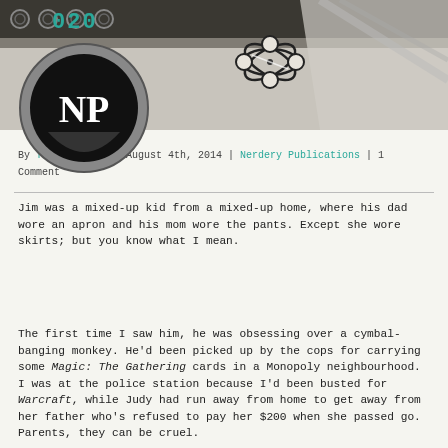[Figure (illustration): Decorative header image with chains/gears background and a molecule/atom graphic overlay. A circular logo with 'NP' initials on a black background is in the upper left.]
By The Republic | August 4th, 2014 | Nerdery Publications | 1 Comment
Jim was a mixed-up kid from a mixed-up home, where his dad wore an apron and his mom wore the pants. Except she wore skirts; but you know what I mean.

The first time I saw him, he was obsessing over a cymbal-banging monkey. He'd been picked up by the cops for carrying some Magic: The Gathering cards in a Monopoly neighbourhood. I was at the police station because I'd been busted for Warcraft, while Judy had run away from home to get away from her father who's refused to pay her $200 when she passed go. Parents, they can be cruel.